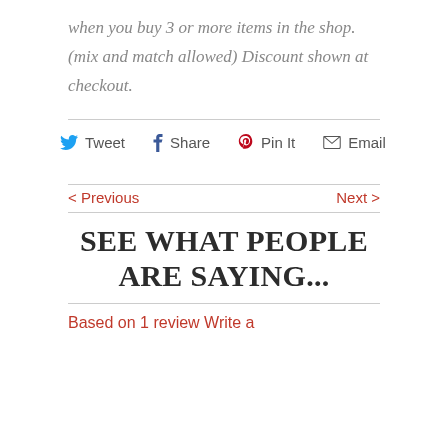when you buy 3 or more items in the shop. (mix and match allowed) Discount shown at checkout.
Tweet  Share  Pin It  Email
< Previous   Next >
SEE WHAT PEOPLE ARE SAYING...
Based on 1 review Write a